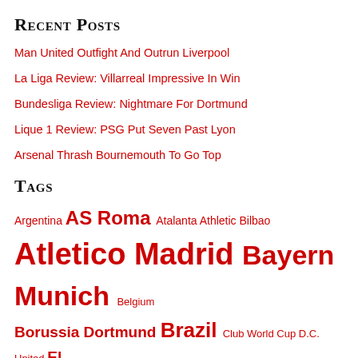Recent Posts
Man United Outfight And Outrun Liverpool
La Liga Review: Villarreal Impressive In Win
Bundesliga Review: Nightmare For Dortmund
Lique 1 Review: PSG Put Seven Past Lyon
Arsenal Thrash Bournemouth To Go Top
Tags
Argentina AS Roma Atalanta Athletic Bilbao Atletico Madrid Bayern Munich Belgium Borussia Dortmund Brazil Club World Cup D.C. United El Clasico England euro Everton Finances Fiorentina France Germany Holland Inter Miami Italy LA Galaxy Lazio Major League Soccer Marseille Mexico Monaco